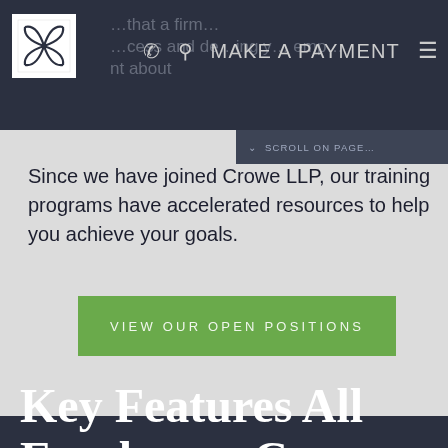[Figure (screenshot): Website navigation bar with logo, phone icon, search icon, MAKE A PAYMENT link, and hamburger menu on dark navy background]
Since we have joined Crowe LLP, our training programs have accelerated resources to help you achieve your goals.
VIEW OUR OPEN POSITIONS
Key Features All Employees Can Access